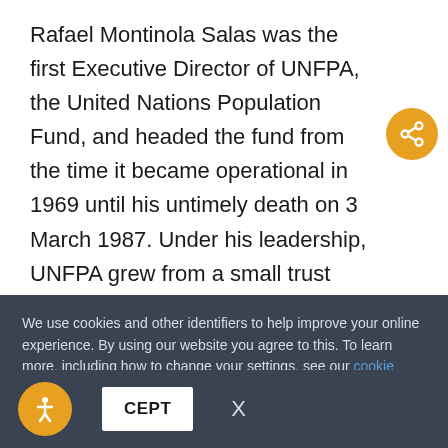Rafael Montinola Salas was the first Executive Director of UNFPA, the United Nations Population Fund, and headed the fund from the time it became operational in 1969 until his untimely death on 3 March 1987. Under his leadership, UNFPA grew from a small trust fund into the world's largest multilateral provider of population assistance. Mr. Salas was a pioneer in the field of population. Indeed, he was one of its first tru...
We use cookies and other identifiers to help improve your online experience. By using our website you agree to this. To learn more, including how to change your settings, see our cookie policy